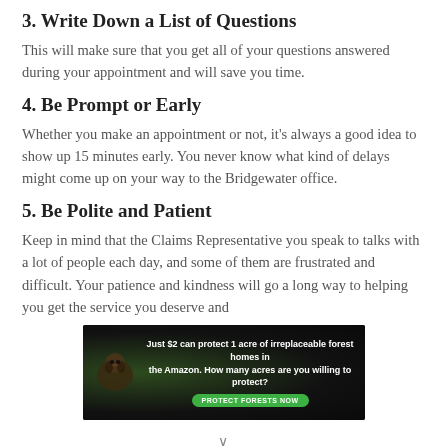3. Write Down a List of Questions
This will make sure that you get all of your questions answered during your appointment and will save you time.
4. Be Prompt or Early
Whether you make an appointment or not, it’s always a good idea to show up 15 minutes early. You never know what kind of delays might come up on your way to the Bridgewater office.
5. Be Polite and Patient
Keep in mind that the Claims Representative you speak to talks with a lot of people each day, and some of them are frustrated and difficult. Your patience and kindness will go a long way to helping you get the service you deserve and
[Figure (infographic): Advertisement banner: dark forest background with animal image on left. Text reads: 'Just $2 can protect 1 acre of irreplaceable forest homes in the Amazon. How many acres are you willing to protect?' with a green 'PROTECT FORESTS NOW' button.]